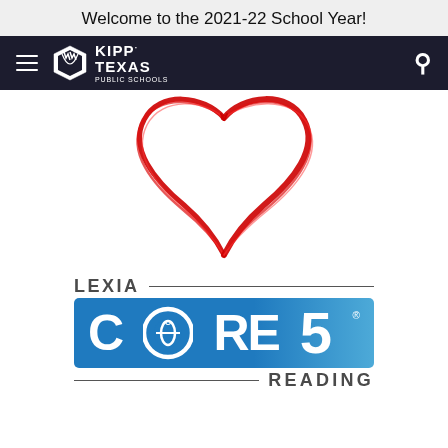Welcome to the 2021-22 School Year!
[Figure (logo): KIPP Texas Public Schools navigation bar with hamburger menu on left, KIPP Texas logo in center-left, and search icon on right, dark navy background]
[Figure (illustration): Red hand-drawn style heart outline illustration on white background]
[Figure (logo): Lexia Core5 Reading logo: 'LEXIA' text with horizontal line above blue rectangle containing 'CORE5' in large white bold letters with globe icon in the O, registered trademark symbol, and 'READING' text with horizontal line below]